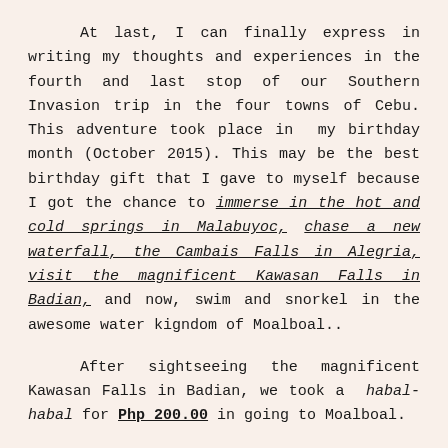At last, I can finally express in writing my thoughts and experiences in the fourth and last stop of our Southern Invasion trip in the four towns of Cebu. This adventure took place in my birthday month (October 2015). This may be the best birthday gift that I gave to myself because I got the chance to immerse in the hot and cold springs in Malabuyoc, chase a new waterfall, the Cambais Falls in Alegria, visit the magnificent Kawasan Falls in Badian, and now, swim and snorkel in the awesome water kigndom of Moalboal..
After sightseeing the magnificent Kawasan Falls in Badian, we took a habal-habal for Php 200.00 in going to Moalboal.
The picture below is our habal-habal ride. Motor vehicles called Habal-habal are plenty near Kawasan Falls. Since we had limited time and had to minimize our fees, the three of us, Niña, Rowena and I decided to ride in one motorbike. The four of us, including the driver, shared one motorbike. The funny thing was, as the motorbike started to hit off the road, the